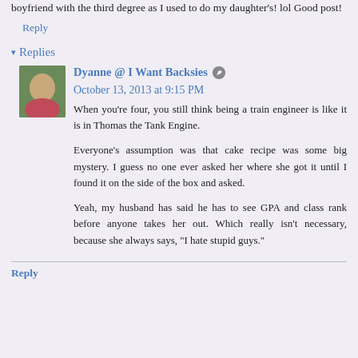That's your daughter! OMG, I hope your husband grilled her boyfriend with the third degree as I used to do my daughter's! lol Good post!
Reply
▾ Replies
Dyanne @ I Want Backsies ✏ October 13, 2013 at 9:15 PM
When you're four, you still think being a train engineer is like it is in Thomas the Tank Engine.

Everyone's assumption was that cake recipe was some big mystery. I guess no one ever asked her where she got it until I found it on the side of the box and asked.

Yeah, my husband has said he has to see GPA and class rank before anyone takes her out. Which really isn't necessary, because she always says, "I hate stupid guys."
Reply